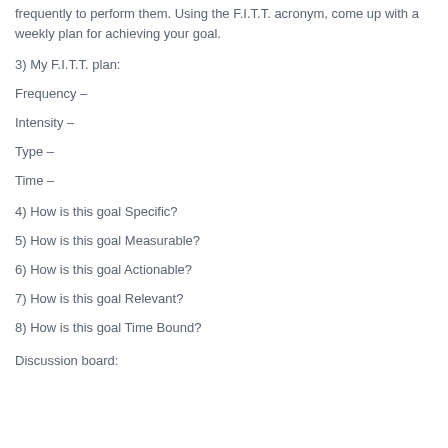frequently to perform them. Using the F.I.T.T. acronym, come up with a weekly plan for achieving your goal.
3) My F.I.T.T. plan:
Frequency –
Intensity –
Type –
Time –
4) How is this goal Specific?
5) How is this goal Measurable?
6) How is this goal Actionable?
7) How is this goal Relevant?
8) How is this goal Time Bound?
Discussion board: